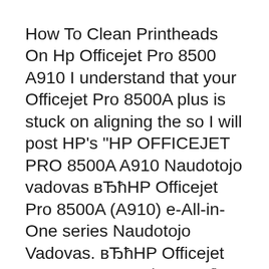How To Clean Printheads On Hp Officejet Pro 8500 A910 I understand that your Officejet Pro 8500A plus is stuck on aligning the so I will post HP's "HP OFFICEJET PRO 8500A A910 Naudotojo vadovas вЂћHP Officejet Pro 8500A (A910) e-All-in-One series Naudotojo Vadovas. вЂћHP Officejet Pro 8500АвЂњ (A910a-f)
Find support and troubleshooting info including software, drivers, and manuals for your HP Officejet Pro 8500A e-All-in-One Printer series - A910 2011-07-20B В· On the Officejet Pro 8500, you can print out a self-test diagnostic page that shows a lot of information